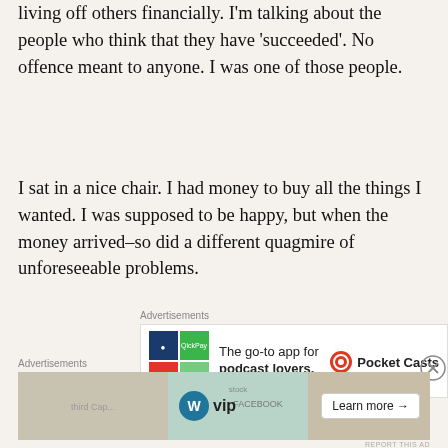living off others financially. I'm talking about the people who think that they have 'succeeded'. No offence meant to anyone. I was one of those people.
I sat in a nice chair. I had money to buy all the things I wanted. I was supposed to be happy, but when the money arrived–so did a different quagmire of unforeseeable problems.
[Figure (other): Advertisement for Pocket Casts app: colorful grid logo, text 'The go-to app for podcast lovers.' with Pocket Casts branding]
[Figure (other): Advertisement for WordPress VIP with map/social media imagery and 'Learn more' button]